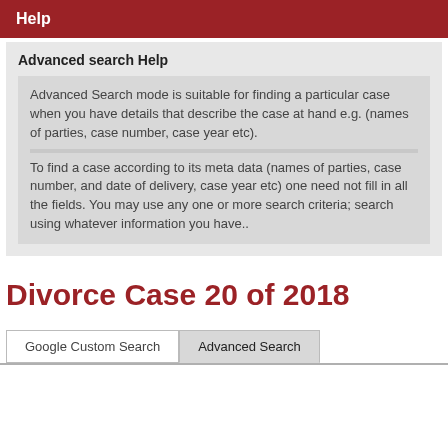Help
Advanced search Help
Advanced Search mode is suitable for finding a particular case when you have details that describe the case at hand e.g. (names of parties, case number, case year etc).
To find a case according to its meta data (names of parties, case number, and date of delivery, case year etc) one need not fill in all the fields. You may use any one or more search criteria; search using whatever information you have..
Divorce Case 20 of 2018
Google Custom Search
Advanced Search